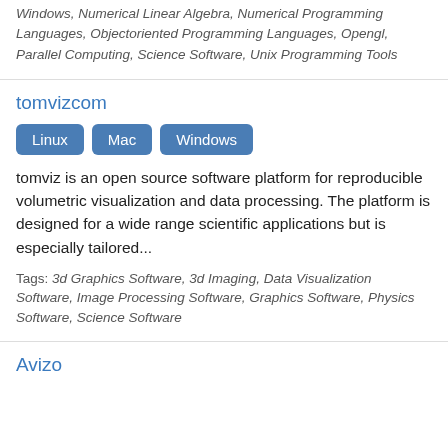Windows, Numerical Linear Algebra, Numerical Programming Languages, Objectoriented Programming Languages, Opengl, Parallel Computing, Science Software, Unix Programming Tools
tomvizcom
Linux
Mac
Windows
tomviz is an open source software platform for reproducible volumetric visualization and data processing. The platform is designed for a wide range scientific applications but is especially tailored...
Tags: 3d Graphics Software, 3d Imaging, Data Visualization Software, Image Processing Software, Graphics Software, Physics Software, Science Software
Avizo